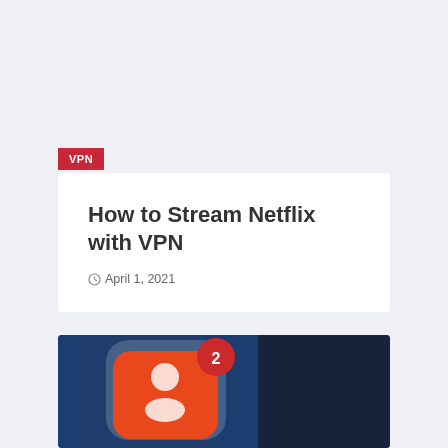VPN
How to Stream Netflix with VPN
April 1, 2021
[Figure (photo): Blurred Netflix app icon on a blue background with a red notification badge showing the number 2]